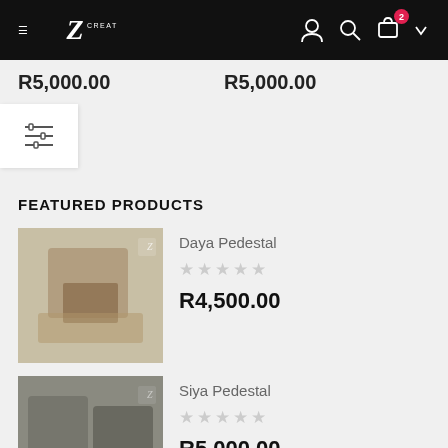Z CREATIONS navigation bar with hamburger menu, logo, user icon, search icon, cart icon (badge: 2), and dropdown arrow
R5,000.00   R5,000.00
[Figure (other): Filter/sort icon button (three horizontal lines with small sliders)]
FEATURED PRODUCTS
[Figure (photo): Daya Pedestal product thumbnail]
Daya Pedestal
☆☆☆☆☆
R4,500.00
[Figure (photo): Siya Pedestal product thumbnail]
Siya Pedestal
☆☆☆☆☆
R5,000.00
[Figure (photo): Mansoor desk product thumbnail]
Mansoor desk
☆☆☆☆☆
R5,500.00 (partially visible)